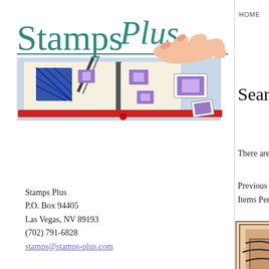[Figure (logo): Stamps Plus logo with stylized teal text 'Stamps Plus' and a hand placing a stamp in a stamp album illustration]
Stamps Plus
P.O. Box 94405
Las Vegas, NV 89193
(702) 791-6828
stamps@stamps-plus.com
HOME   BR
Search
There are 493
Previous 20 |
Items Per Pag
[Figure (photo): Vintage postage stamp showing '6 KREUZER' with ornate border and cancellation marks]